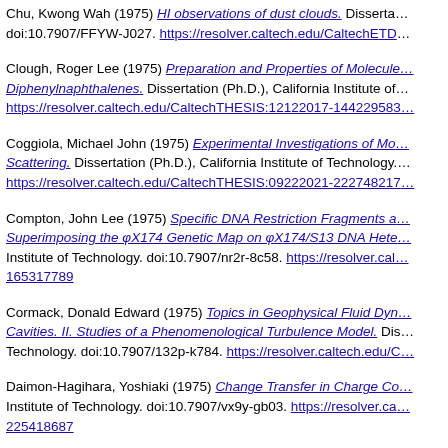Chu, Kwong Wah (1975) HI observations of dust clouds. Dissertation (Ph.D.), California Institute of Technology. doi:10.7907/FFYW-J027. https://resolver.caltech.edu/CaltechETD...
Clough, Roger Lee (1975) Preparation and Properties of Molecules Diphenylnaphthalenes. Dissertation (Ph.D.), California Institute of... https://resolver.caltech.edu/CaltechTHESIS:12122017-14422958...
Coggiola, Michael John (1975) Experimental Investigations of Mo... Scattering. Dissertation (Ph.D.), California Institute of Technology. https://resolver.caltech.edu/CaltechTHESIS:09222021-22274821...
Compton, John Lee (1975) Specific DNA Restriction Fragments a... Superimposing the φX174 Genetic Map on φX174/S13 DNA Hete... Institute of Technology. doi:10.7907/nr2r-8c58. https://resolver.cal...165317789
Cormack, Donald Edward (1975) Topics in Geophysical Fluid Dyn... Cavities. II. Studies of a Phenomenological Turbulence Model. Dis... Technology. doi:10.7907/132p-k784. https://resolver.caltech.edu/C...
Daimon-Hagihara, Yoshiaki (1975) Change Transfer in Charge Co... Institute of Technology. doi:10.7907/vx9y-gb03. https://resolver.ca...225418687
Decker, Stephen K. (1975) Investigations of noise and of quantum... Dissertation (Ph.D.), California Institute of Technology. doi:10.790... https://resolver.caltech.edu/CaltechTHESIS:07182014-08532295...
Delaney, William Kenneth (1975) A Counterexample in the Theo...